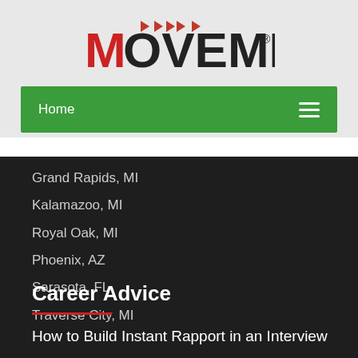[Figure (logo): MOVEMENT logo with red M and dark letters, play button arrows above, registered trademark symbol]
Home
Grand Rapids, MI
Kalamazoo, MI
Royal Oak, MI
Phoenix, AZ
Sarasota, FL
Traverse City, MI
Career Advice
How to Build Instant Rapport in an Interview